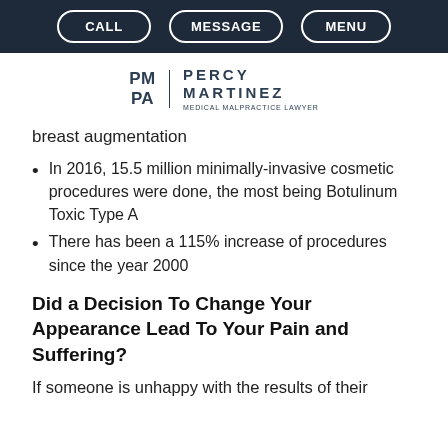CALL | MESSAGE | MENU
[Figure (logo): PM PA | PERCY MARTINEZ MEDICAL MALPRACTICE LAWYER logo]
breast augmentation
In 2016, 15.5 million minimally-invasive cosmetic procedures were done, the most being Botulinum Toxic Type A
There has been a 115% increase of procedures since the year 2000
Did a Decision To Change Your Appearance Lead To Your Pain and Suffering?
If someone is unhappy with the results of their